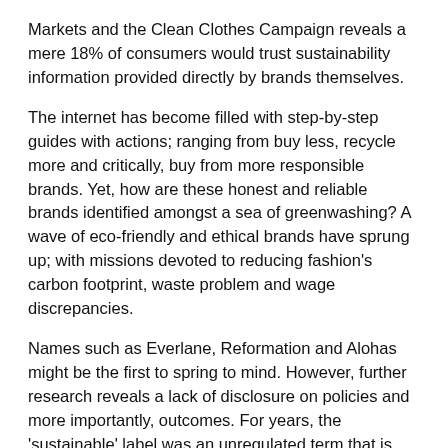Markets and the Clean Clothes Campaign reveals a mere 18% of consumers would trust sustainability information provided directly by brands themselves.
The internet has become filled with step-by-step guides with actions; ranging from buy less, recycle more and critically, buy from more responsible brands. Yet, how are these honest and reliable brands identified amongst a sea of greenwashing? A wave of eco-friendly and ethical brands have sprung up; with missions devoted to reducing fashion's carbon footprint, waste problem and wage discrepancies.
Names such as Everlane, Reformation and Alohas might be the first to spring to mind. However, further research reveals a lack of disclosure on policies and more importantly, outcomes. For years, the 'sustainable' label was an unregulated term that is only now beginning to achieve legal protection. Liv Simpliciano, Policy and Research Manager at not-for-profit organization Fashion Revolution, shares her expertise on industry advancement on transparency.